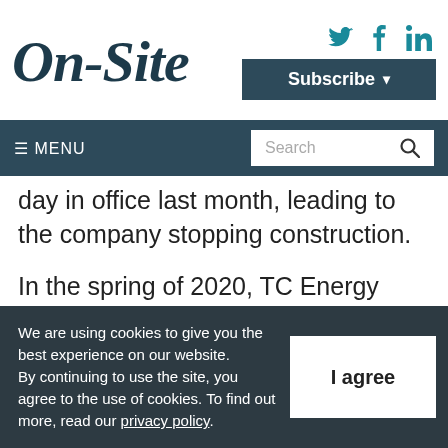On-Site
day in office last month, leading to the company stopping construction.
In the spring of 2020, TC Energy approved spending US$8 billion to complete Keystone XL after the Alberta government agreed to invest
We are using cookies to give you the best experience on our website. By continuing to use the site, you agree to the use of cookies. To find out more, read our privacy policy.